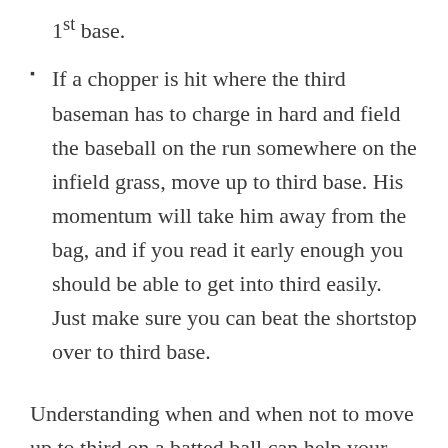1st base.
If a chopper is hit where the third baseman has to charge in hard and field the baseball on the run somewhere on the infield grass, move up to third base. His momentum will take him away from the bag, and if you read it early enough you should be able to get into third easily.  Just make sure you can beat the shortstop over to third base.
Understanding when and when not to move up to third on a batted ball can help your team...